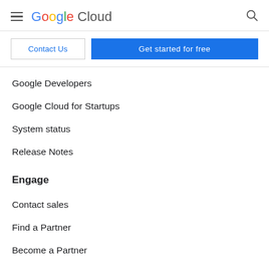Google Cloud
Contact Us | Get started for free
Google Developers
Google Cloud for Startups
System status
Release Notes
Engage
Contact sales
Find a Partner
Become a Partner
Events
Podcasts